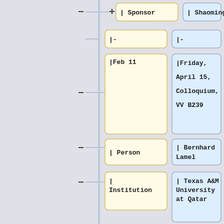[Figure (flowchart): A two-column wiki-style structured data editing interface showing a vertical timeline/tree with minus and plus markers. Left column (yellow boxes) shows field names/keys, right column (blue boxes) shows values. Rows include: Sponsor/Shaoming, |-/|-, |Feb 11/|Friday April 15 Colloquium VV B239, |Person/|Bernhard Lamel, |Institution/|Texas A&M University at Qatar, |[[#linktoabstract|Title]]/|[[#Bernhard Lamel|Convergence and Divergence of Formal Power Series]